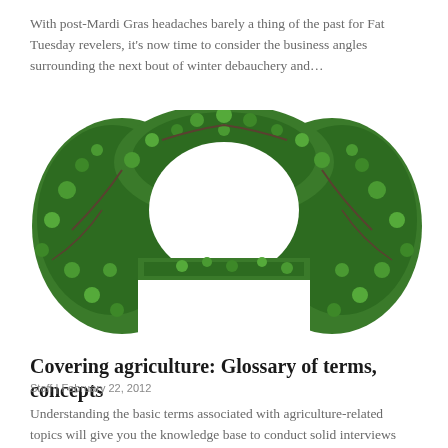With post-Mardi Gras headaches barely a thing of the past for Fat Tuesday revelers, it’s now time to consider the business angles surrounding the next bout of winter debauchery and…
[Figure (photo): A large ornate letter or shape formed entirely from intertwined green vines and leaves against a white background.]
Covering agriculture: Glossary of terms, concepts
Staff | February 22, 2012
Understanding the basic terms associated with agriculture-related topics will give you the knowledge base to conduct solid interviews and identify key trends. To get you started, here’s a list of…